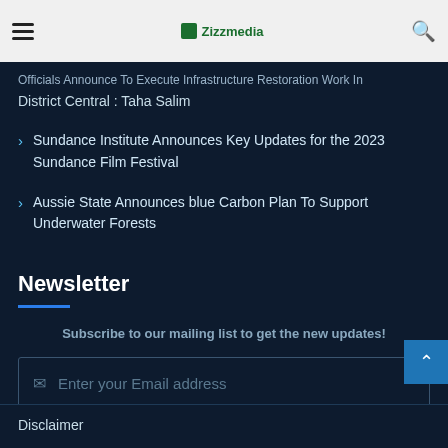Zizzmedia
Officials Announce To Execute Infrastructure Restoration Work In District Central : Taha Salim
Sundance Institute Announces Key Updates for the 2023 Sundance Film Festival
Aussie State Announces blue Carbon Plan To Support Underwater Forests
Newsletter
Subscribe to our mailing list to get the new updates!
Enter your Email address
Subscribe
Disclaimer